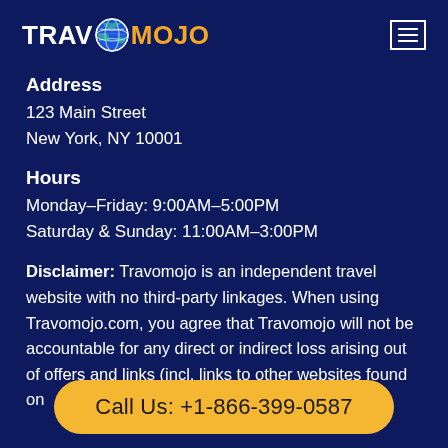TRAVOMOJO
Address
123 Main Street
New York, NY 10001
Hours
Monday–Friday: 9:00AM–5:00PM
Saturday & Sunday: 11:00AM–3:00PM
Disclaimer: Travomojo is an independent travel website with no third-party linkages. When using Travomojo.com, you agree that Travomojo will not be accountable for any direct or indirect loss arising out of offers and links (incl. links to other websites found on
Call Us: +1-866-399-0587